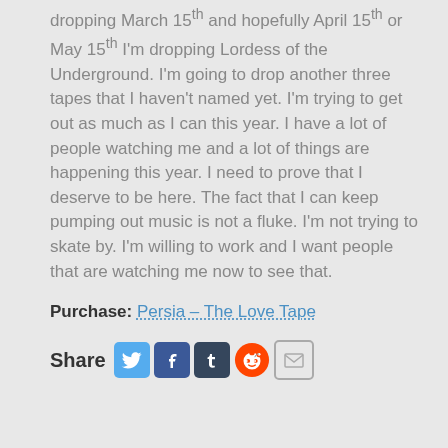dropping March 15th and hopefully April 15th or May 15th I'm dropping Lordess of the Underground. I'm going to drop another three tapes that I haven't named yet. I'm trying to get out as much as I can this year. I have a lot of people watching me and a lot of things are happening this year. I need to prove that I deserve to be here. The fact that I can keep pumping out music is not a fluke. I'm not trying to skate by. I'm willing to work and I want people that are watching me now to see that.
Purchase: Persia – The Love Tape
[Figure (other): Social share icons row: Share label followed by Twitter, Facebook, Tumblr, Reddit, and Email icons]